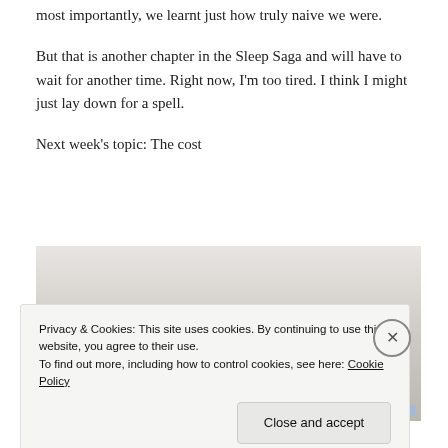most importantly, we learnt just how truly naive we were.
But that is another chapter in the Sleep Saga and will have to wait for another time. Right now, I'm too tired. I think I might just lay down for a spell.
Next week's topic: The cost
[Figure (photo): A light-coloured bedroom or interior scene, largely white/grey tones. A small decorative element visible near the bottom-centre. Bottom edge shows a colourful gradient strip.]
Privacy & Cookies: This site uses cookies. By continuing to use this website, you agree to their use.
To find out more, including how to control cookies, see here: Cookie Policy
Close and accept